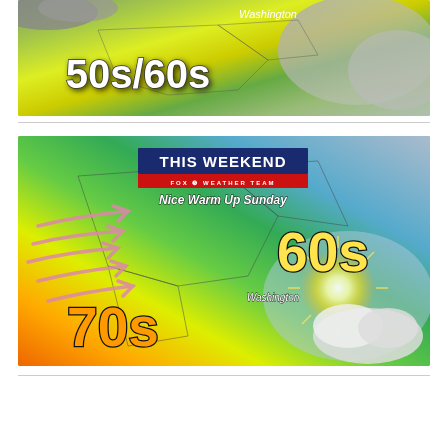[Figure (map): Weather map of Eastern US showing temperature range 50s/60s with Washington label, green and yellow color shading with overcast clouds]
[Figure (map): Weather map titled THIS WEEKEND with FOX Weather Team branding, showing Nice Warm Up Sunday with 60s temperatures in northeast and 70s in mid-Atlantic/south, pink wind arrows, sun breaking through clouds graphic, Washington label]